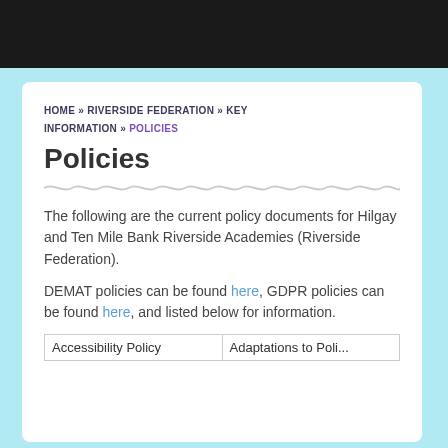[Figure (other): Dark header bar at top of page (navigation/logo area)]
HOME » RIVERSIDE FEDERATION » KEY INFORMATION » POLICIES
Policies
The following are the current policy documents for Hilgay and Ten Mile Bank Riverside Academies (Riverside Federation).
DEMAT policies can be found here, GDPR policies can be found here, and listed below for information.
| Accessibility Policy | Adaptations to Poli... |
| --- | --- |